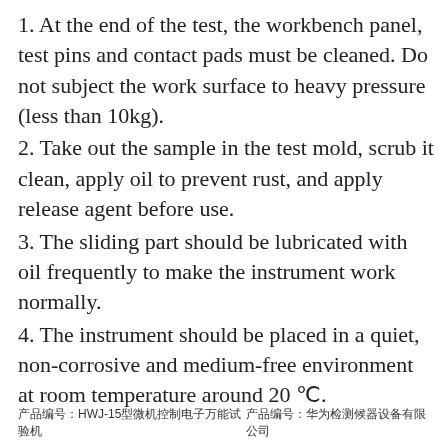1. At the end of the test, the workbench panel, test pins and contact pads must be cleaned. Do not subject the work surface to heavy pressure (less than 10kg).
2. Take out the sample in the test mold, scrub it clean, apply oil to prevent rust, and apply release agent before use.
3. The sliding part should be lubricated with oil frequently to make the instrument work normally.
4. The instrument should be placed in a quiet, non-corrosive and medium-free environment at room temperature around 20 °C.
产品编号：HWJ-15型微机控制电子万能试验机                         产品编号：华为检测仪器设备有限公司